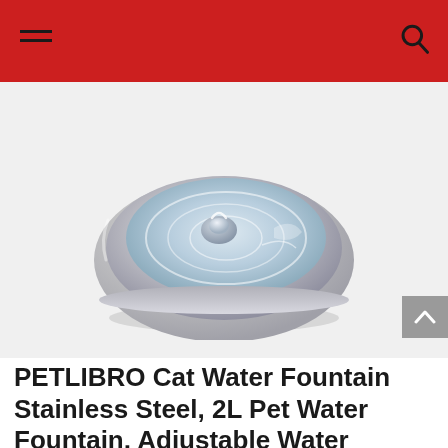Navigation header with hamburger menu and search icon
[Figure (photo): PETLIBRO stainless steel cat water fountain, oval-shaped, silver metallic finish, showing water flowing on the surface, viewed from a slight angle above]
PETLIBRO Cat Water Fountain Stainless Steel, 2L Pet Water Fountain, Adjustable Water